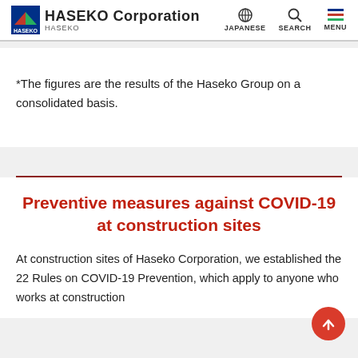HASEKO Corporation | JAPANESE | SEARCH | MENU
*The figures are the results of the Haseko Group on a consolidated basis.
Preventive measures against COVID-19 at construction sites
At construction sites of Haseko Corporation, we established the 22 Rules on COVID-19 Prevention, which apply to anyone who works at construction